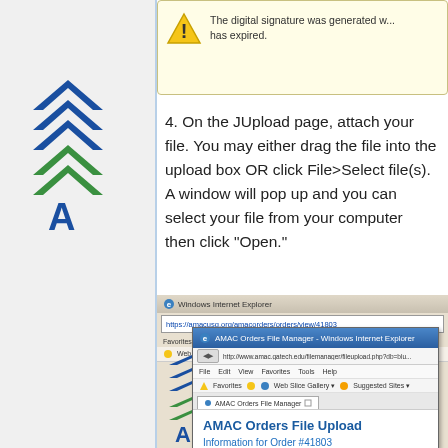[Figure (screenshot): Warning dialog showing yellow exclamation icon with text about digital signature expiration]
4. On the JUpload page, attach your file. You may either drag the file into the upload box OR click File>Select file(s). A window will pop up and you can select your file from your computer then click "Open."
[Figure (screenshot): Screenshot of Windows Internet Explorer showing AMAC Orders File Manager popup with AMAC Orders File Upload page and Information for Order #41803]